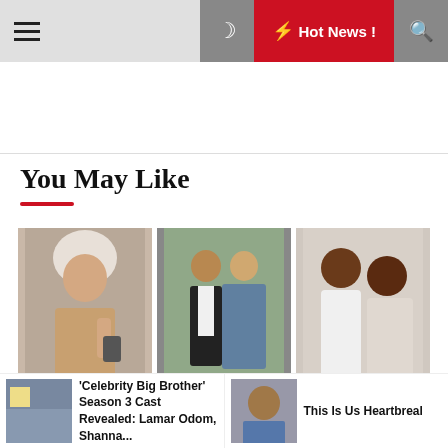Hot News !
You May Like
[Figure (photo): Three celebrity photo thumbnails in a row: woman with towel on head taking selfie; man in black suit with woman in sequined dress; two women laughing together]
'Celebrity Big Brother' Season 3 Cast Revealed: Lamar Odom, Shanna...
This Is Us Heartbreal